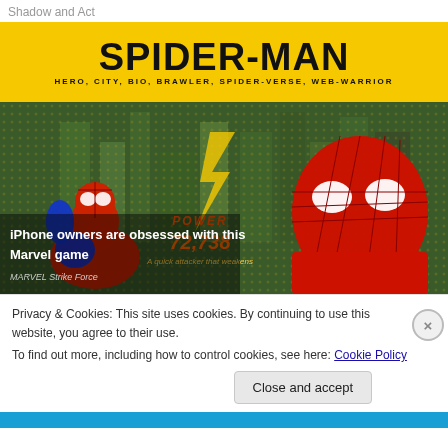Shadow and Act
[Figure (illustration): Spider-Man promotional image with yellow header showing 'SPIDER-MAN' title and subheading 'HERO, CITY, BIO, BRAWLER, SPIDER-VERSE, WEB-WARRIOR'. Below is a scene with two Spider-Man figures, one in classic costume on left and one in modern suit on right, with colorful city background. Overlaid text shows 'iPhone owners are obsessed with this Marvel game' and 'MARVEL Strike Force' with power stat 72,738.]
Privacy & Cookies: This site uses cookies. By continuing to use this website, you agree to their use.
To find out more, including how to control cookies, see here: Cookie Policy
Close and accept